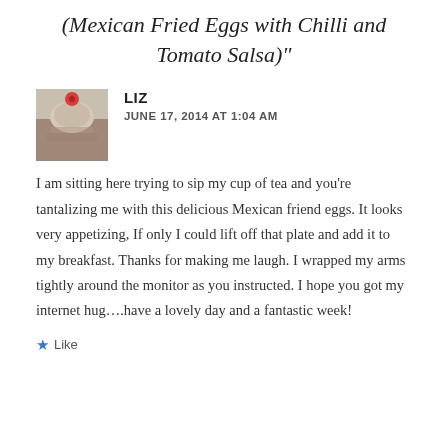(Mexican Fried Eggs with Chilli and Tomato Salsa)"
[Figure (photo): Small thumbnail photo of a food dish with a red berry/tomato on top]
LIZ
JUNE 17, 2014 AT 1:04 AM
I am sitting here trying to sip my cup of tea and you’re tantalizing me with this delicious Mexican friend eggs. It looks very appetizing, If only I could lift off that plate and add it to my breakfast. Thanks for making me laugh. I wrapped my arms tightly around the monitor as you instructed. I hope you got my internet hug….have a lovely day and a fantastic week!
Like